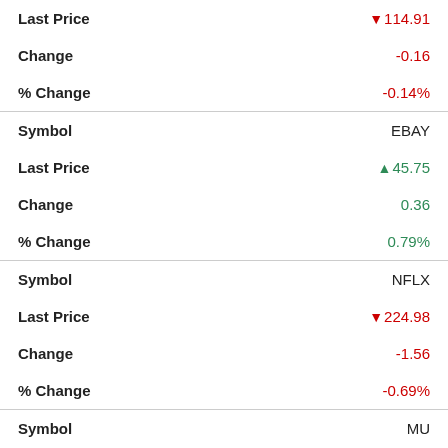| Field | Value |
| --- | --- |
| Last Price | ▼114.91 |
| Change | -0.16 |
| % Change | -0.14% |
| Symbol | EBAY |
| Last Price | ▲45.75 |
| Change | 0.36 |
| % Change | 0.79% |
| Symbol | NFLX |
| Last Price | ▼224.98 |
| Change | -1.56 |
| % Change | -0.69% |
| Symbol | MU |
| Last Price | ▼58.14 |
| Change | -0.18 |